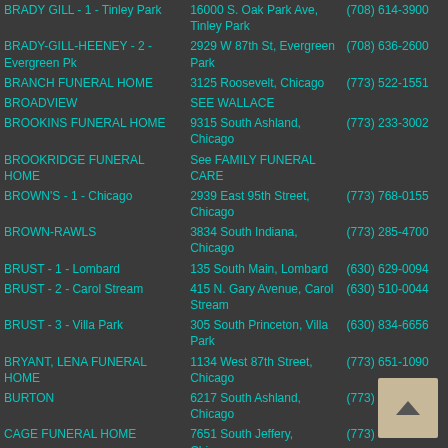| Name | Address | Phone |
| --- | --- | --- |
| BRADY GILL - 1 - Tinley Park | 16000 S. Oak Park Ave, Tinley Park | (708) 614-3900 |
| BRADY-GILL-HEENEY - 2 - Evergreen Pk | 2929 W 87th St, Evergreen Park | (708) 636-2600 |
| BRANCH FUNERAL HOME | 3125 Roosevelt, Chicago | (773) 522-1551 |
| BROADVIEW | SEE WALLACE |  |
| BROOKINS FUNERAL HOME | 9315 South Ashland, Chicago | (773) 233-3002 |
| BROOKRIDGE FUNERAL HOME | See FAMILY FUNERAL CARE |  |
| BROWN'S - 1 - Chicago | 2939 East 95th Street, Chicago | (773) 768-0155 |
| BROWN-RAWLS | 3834 South Indiana, Chicago | (773) 285-4700 |
| BRUST - 1 - Lombard | 135 South Main, Lombard | (630) 629-0094 |
| BRUST - 2 - Carol Stream | 415 N. Gary Avenue, Carol Stream | (630) 510-0044 |
| BRUST - 3 - Villa Park | 305 South Princeton, Villa Park | (630) 834-6656 |
| BRYANT, LENA FUNERAL HOME | 1134 West 87th Street, Chicago | (773) 651-1090 |
| BURTON | 6217 South Ashland, Chicago | (773) 434-4252 |
| CAGE FUNERAL HOME | 7651 South Jeffery, Chicago | (773) 721-8900 |
| CALAHAN | 7030 South Halsted, Chicago | (773) 72… |
| CAPPETTA | 5858 Roosevelt Road, Chicago | (773) 62… |
| CARIBE | 3314 West Armitage | (773) 252-1700 |